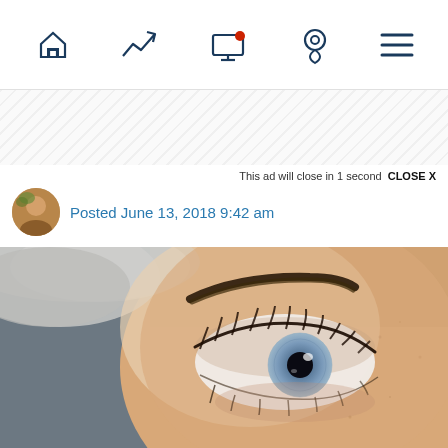[Figure (screenshot): Mobile website navigation bar with icons: home, trending/chart arrow, screen/notification, location pin, hamburger menu — all in dark navy blue]
[Figure (other): Diagonal hatched grey advertisement banner placeholder area]
This ad will close in 1 second  CLOSE X
[Figure (photo): Circular avatar thumbnail of a person outdoors]
Posted June 13, 2018 9:42 am
[Figure (photo): Close-up photograph of a person's eye — blue iris, dark eyebrow, pale skin, grey hair visible at top left. Background is blurred grey/brown tones. The eye is the sharp focal point.]